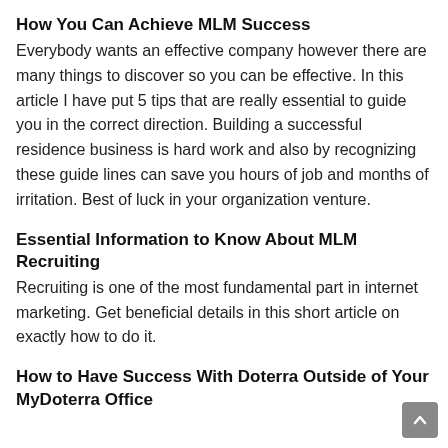How You Can Achieve MLM Success
Everybody wants an effective company however there are many things to discover so you can be effective. In this article I have put 5 tips that are really essential to guide you in the correct direction. Building a successful residence business is hard work and also by recognizing these guide lines can save you hours of job and months of irritation. Best of luck in your organization venture.
Essential Information to Know About MLM Recruiting
Recruiting is one of the most fundamental part in internet marketing. Get beneficial details in this short article on exactly how to do it.
How to Have Success With Doterra Outside of Your MyDoterra Office